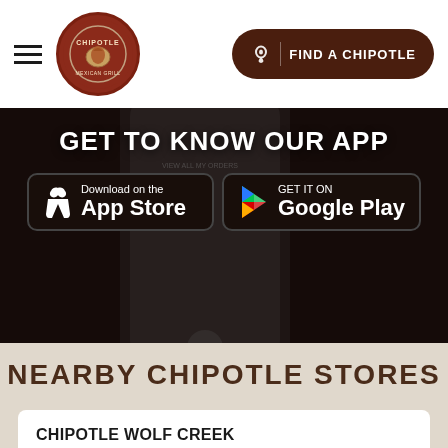Chipotle Mexican Grill — FIND A CHIPOTLE
[Figure (screenshot): Chipotle app promotion banner with phone image showing GET TO KNOW OUR APP with App Store and Google Play download buttons]
NEARBY CHIPOTLE STORES
CHIPOTLE WOLF CREEK
10:45 AM - 10:00 PM
10403 S 15th St